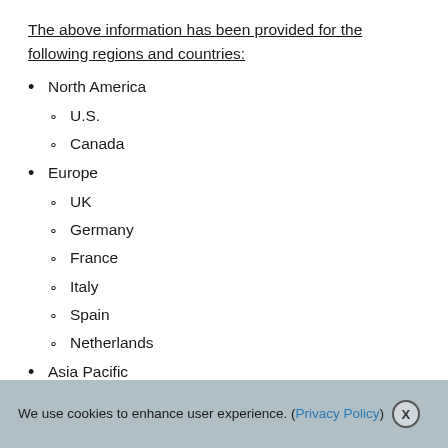The above information has been provided for the following regions and countries:
North America
U.S.
Canada
Europe
UK
Germany
France
Italy
Spain
Netherlands
Asia Pacific
We use cookies to enhance user experience. (Privacy Policy) X